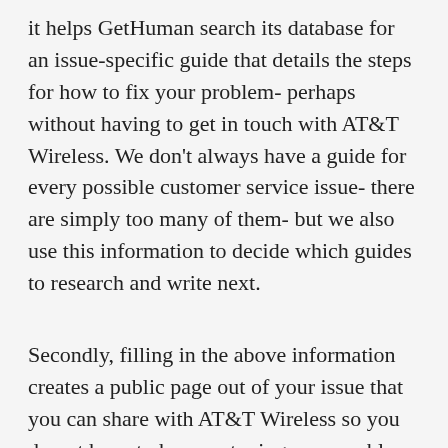it helps GetHuman search its database for an issue-specific guide that details the steps for how to fix your problem- perhaps without having to get in touch with AT&T Wireless. We don't always have a guide for every possible customer service issue- there are simply too many of them- but we also use this information to decide which guides to research and write next.
Secondly, filling in the above information creates a public page out of your issue that you can share with AT&T Wireless so you do not have to keep re-typing your problem when you reach out. You can also share with other customers to solicit help from them. When you resolve the issue, you can share with other customers how you resolve it. The next customer that comes along may see this and resolve their own problem faster thanks to you. You can use the links sent to your email address to edit or delete the publi